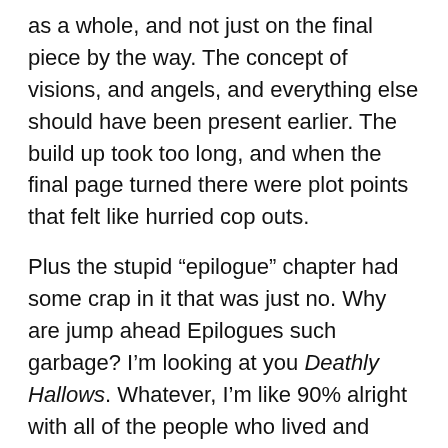as a whole, and not just on the final piece by the way. The concept of visions, and angels, and everything else should have been present earlier. The build up took too long, and when the final page turned there were plot points that felt like hurried cop outs.
Plus the stupid “epilogue” chapter had some crap in it that was just no. Why are jump ahead Epilogues such garbage? I’m looking at you Deathly Hallows. Whatever, I’m like 90% alright with all of the people who lived and died, so that’s cool.
Should You Read This?
If you’ve made it this far I don’t know why you wouldn’t finish up the trilogy. It resolves the saga, answers a lot of